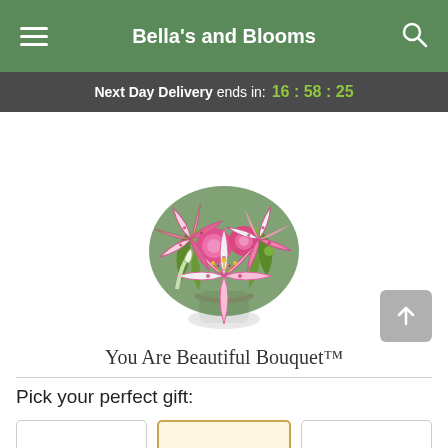Bella's and Blooms
Next Day Delivery ends in: 16 : 58 : 25
[Figure (photo): A floral bouquet product photo showing pink stargazer lilies and pink roses arranged in a white vase with a pink ribbon, on a white background. Product name: You Are Beautiful Bouquet™]
You Are Beautiful Bouquet™
Pick your perfect gift: